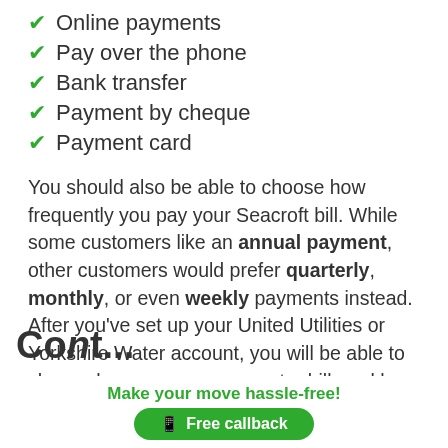Online payments
Pay over the phone
Bank transfer
Payment by cheque
Payment card
You should also be able to choose how frequently you pay your Seacroft bill. While some customers like an annual payment, other customers would prefer quarterly, monthly, or even weekly payments instead. After you've set up your United Utilities or Yorkshire Water account, you will be able to choose how you pay your water bill, and how often you need to pay it.
Cont...
Make your move hassle-free! Free callback